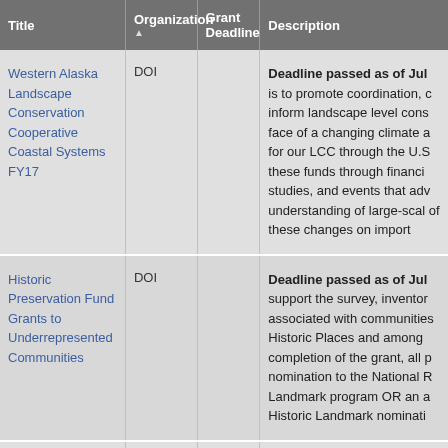| Title | Organization ▲ | Grant Deadline | Description |
| --- | --- | --- | --- |
| Western Alaska Landscape Conservation Cooperative Coastal Systems FY17 | DOI |  | Deadline passed as of Jul... is to promote coordination, c... inform landscape level cons... face of a changing climate a... for our LCC through the U.S... these funds through financi... studies, and events that adv... understanding of large-scal... of these changes on import... |
| Historic Preservation Fund Grants to Underrepresented Communities | DOI |  | Deadline passed as of Jul... support the survey, inventor... associated with communities... Historic Places and among ... completion of the grant, all p... nomination to the National R... Landmark program OR an a... Historic Landmark nominati... |
|  |  |  | Deadline for 2018 Unknow... |